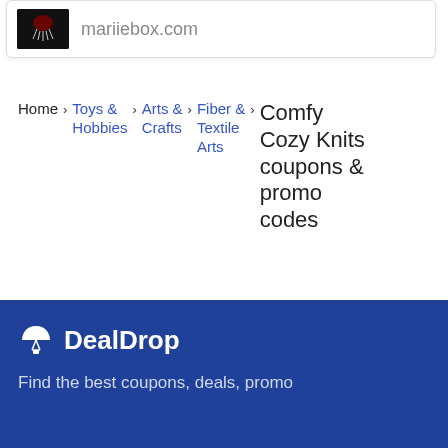[Figure (screenshot): Store card showing a dark image thumbnail and the URL text 'mariiebox.com']
Home › Toys & Hobbies › Arts & Crafts › Fiber & Textile Arts › Comfy Cozy Knits coupons & promo codes
DealDrop - Find the best coupons, deals, promo
DealDrop - Find the best coupons, deals, promo